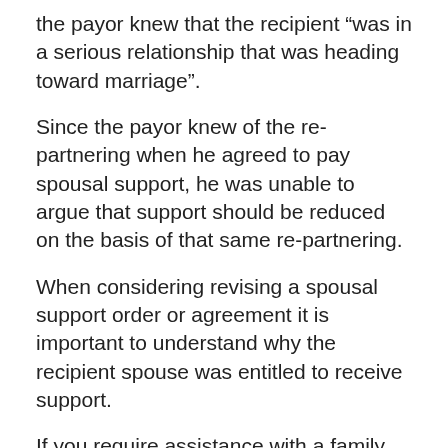the payor knew that the recipient “was in a serious relationship that was heading toward marriage”.
Since the payor knew of the re-partnering when he agreed to pay spousal support, he was unable to argue that support should be reduced on the basis of that same re-partnering.
When considering revising a spousal support order or agreement it is important to understand why the recipient spouse was entitled to receive support.
If you require assistance with a family law matter, speak to a family lawyer at McKenzie Lake Lawyers LLP by calling (519) 672-5666.
This article was written by Family Law Lawyer